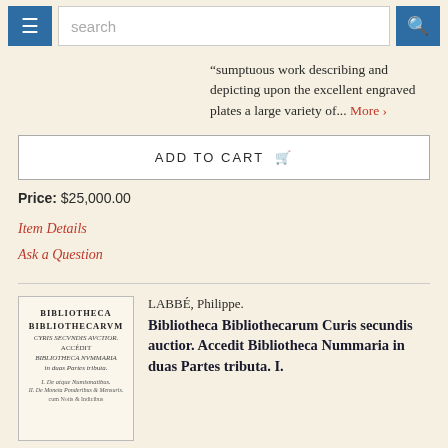search
"sumptuous work describing and depicting upon the excellent engraved plates a large variety of... More ›
ADD TO CART
Price: $25,000.00
Item Details
Ask a Question
LABBÉ, Philippe.
Bibliotheca Bibliothecarum Curis secundis auctior. Accedit Bibliotheca Nummaria in duas Partes tributa. I.